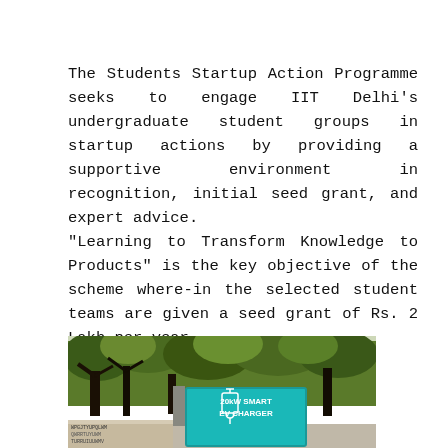The Students Startup Action Programme seeks to engage IIT Delhi's undergraduate student groups in startup actions by providing a supportive environment in recognition, initial seed grant, and expert advice.
"Learning to Transform Knowledge to Products" is the key objective of the scheme where-in the selected student teams are given a seed grant of Rs. 2 Lakh per year.
[Figure (photo): Photograph showing an outdoor scene with trees and a teal/cyan colored sign reading '20kW SMART EV CHARGER' with a charging icon, set against a leafy background.]